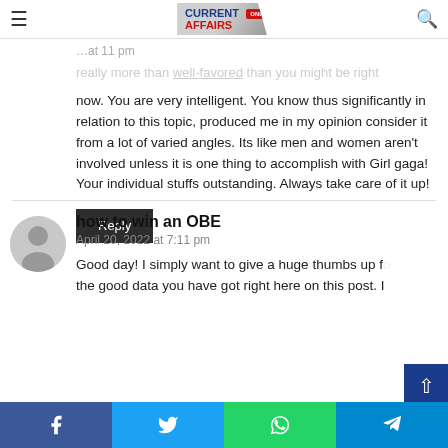Current Affairs Online — navigation bar
really more than well-favored than you might be right now. You are very intelligent. You know thus significantly in relation to this topic, produced me in my opinion consider it from a lot of varied angles. Its like men and women aren't involved unless it is one thing to accomplish with Girl gaga! Your individual stuffs outstanding. Always take care of it up!
Reply
how to win an OBE
April 20, 2022 at 7:11 pm
Good day! I simply want to give a huge thumbs up for the good data you have got right here on this post. I
Facebook Twitter WhatsApp Telegram share buttons